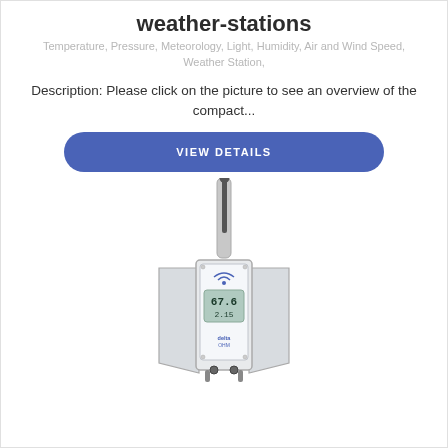weather-stations
Temperature, Pressure, Meteorology, Light, Humidity, Air and Wind Speed, Weather Station,
Description: Please click on the picture to see an overview of the compact...
VIEW DETAILS
[Figure (photo): A compact wireless weather station device with antenna mounted on a pole, enclosed in a white metal housing with open side doors, showing a digital LCD display reading 67.6 and 2.15, with a wireless signal icon and Delta OHM branding on the front panel, cable connectors at the bottom.]